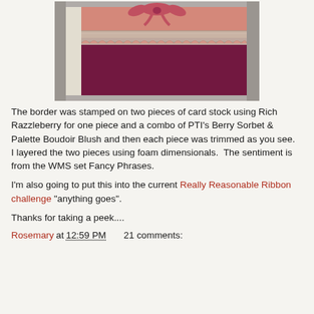[Figure (photo): A handmade greeting card with a dark maroon/burgundy base, decorative lace border strip, patterned scalloped edging in peach/pink tones, and a ribbon bow at the top center. The card sits on a light cream base.]
The border was stamped on two pieces of card stock using Rich Razzleberry for one piece and a combo of PTI's Berry Sorbet & Palette Boudoir Blush and then each piece was trimmed as you see.  I layered the two pieces using foam dimensionals.  The sentiment is from the WMS set Fancy Phrases.
I'm also going to put this into the current Really Reasonable Ribbon challenge "anything goes".
Thanks for taking a peek....
Rosemary at 12:59 PM    21 comments: